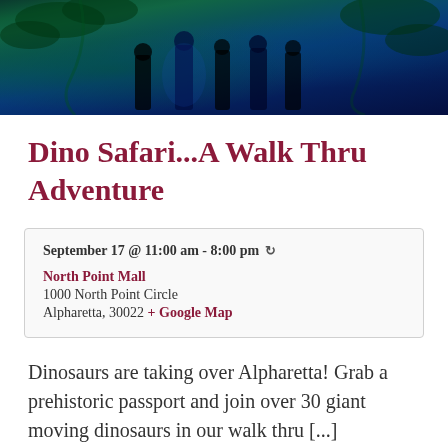[Figure (photo): Dark, blue-green tinted photo of people silhouetted among jungle foliage and dinosaur exhibit scenery at night]
Dino Safari...A Walk Thru Adventure
September 17 @ 11:00 am - 8:00 pm ↻
North Point Mall
1000 North Point Circle
Alpharetta, 30022 + Google Map
Dinosaurs are taking over Alpharetta! Grab a prehistoric passport and join over 30 giant moving dinosaurs in our walk thru [...]
Find out more »